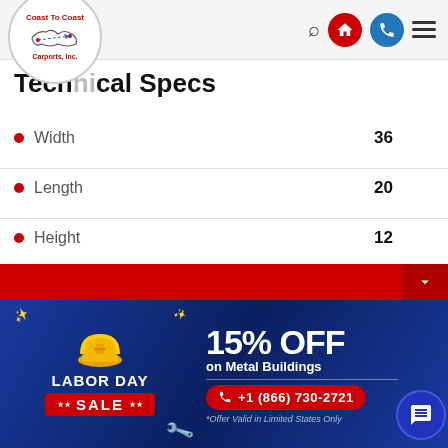Coast To Coast Carports, Inc. [logo] [search] [home] [phone] [menu]
Technical Specs
Width    36
Length    20
Height    12
Available for Finance    Yes
Available for RTO    Yes
[Figure (infographic): Labor Day Sale banner: 15% OFF on Metal Buildings. Phone +1 (866) 730-2721. *Offer Valid in Limited States Only. Hard hat illustration and confetti decoration on blue background.]